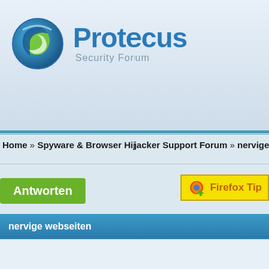[Figure (logo): Protecus Security Forum logo with circular icon and blue text]
Home » Spyware & Browser Hijacker Support Forum » nervige webseiten » Themenana…
[Figure (other): Firefox Tip button with orange text and Firefox icon on yellow background]
Antworten
nervige webseiten